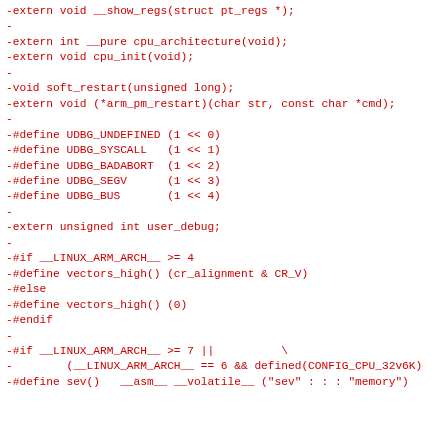-extern void __show_regs(struct pt_regs *);
-
-extern int __pure cpu_architecture(void);
-extern void cpu_init(void);
-
-void soft_restart(unsigned long);
-extern void (*arm_pm_restart)(char str, const char *cmd);
-
-#define UDBG_UNDEFINED (1 << 0)
-#define UDBG_SYSCALL   (1 << 1)
-#define UDBG_BADABORT  (1 << 2)
-#define UDBG_SEGV      (1 << 3)
-#define UDBG_BUS       (1 << 4)
-
-extern unsigned int user_debug;
-
-#if __LINUX_ARM_ARCH__ >= 4
-#define vectors_high() (cr_alignment & CR_V)
-#else
-#define vectors_high() (0)
-#endif
-
-#if __LINUX_ARM_ARCH__ >= 7 ||          \
-        (__LINUX_ARM_ARCH__ == 6 && defined(CONFIG_CPU_32v6K)
-#define sev()   __asm__ __volatile__ ("sev" : : : "memory")